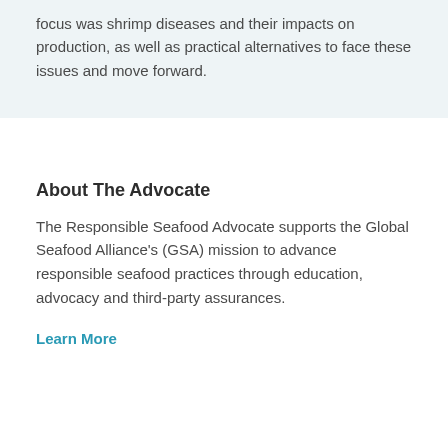focus was shrimp diseases and their impacts on production, as well as practical alternatives to face these issues and move forward.
About The Advocate
The Responsible Seafood Advocate supports the Global Seafood Alliance's (GSA) mission to advance responsible seafood practices through education, advocacy and third-party assurances.
Learn More